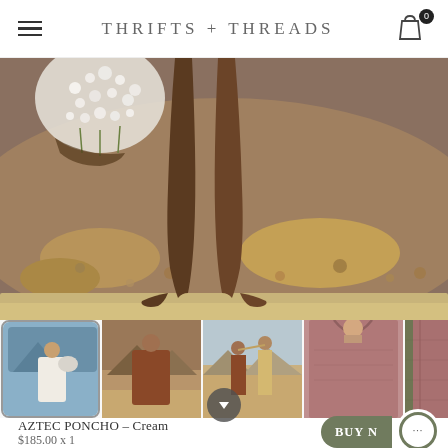THRIFTS + THREADS
[Figure (photo): Close-up photo of a person's bare legs and feet standing on sandy/rocky ground, with white floral bouquet partially visible on the left side. Warm earth tones.]
[Figure (photo): Thumbnail row of 5 product/lifestyle photos: (1) man in white poncho holding flowers, (2) man in brown/rust poncho outdoors, (3) couple in desert landscape, (4) close-up of rose/mauve poncho front, (5) close-up of rose/mauve poncho texture.]
AZTEC PONCHO – Cream
$185.00 x 1
BUY N…